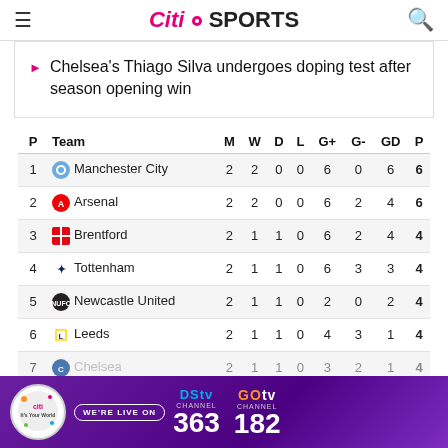Citi SPORTS
Chelsea's Thiago Silva undergoes doping test after season opening win
| P | Team | M | W | D | L | G+ | G- | GD | P |
| --- | --- | --- | --- | --- | --- | --- | --- | --- | --- |
| 1 | Manchester City | 2 | 2 | 0 | 0 | 6 | 0 | 6 | 6 |
| 2 | Arsenal | 2 | 2 | 0 | 0 | 6 | 2 | 4 | 6 |
| 3 | Brentford | 2 | 1 | 1 | 0 | 6 | 2 | 4 | 4 |
| 4 | Tottenham | 2 | 1 | 1 | 0 | 6 | 3 | 3 | 4 |
| 5 | Newcastle United | 2 | 1 | 1 | 0 | 2 | 0 | 2 | 4 |
| 6 | Leeds | 2 | 1 | 1 | 0 | 4 | 3 | 1 | 4 |
| 7 | Chelsea | 2 | 1 | 1 | 0 | 3 | 2 | 1 | 4 |
[Figure (infographic): DStv Channel 363 and GOtv Channel 182 advertisement banner with Citi Sports logo and WE'RE LIVE ON text]